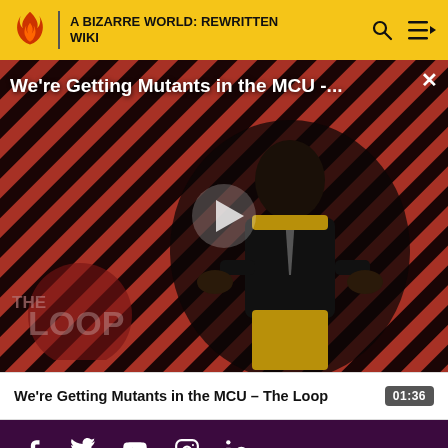A BIZARRE WORLD: REWRITTEN WIKI
[Figure (screenshot): Video thumbnail showing a bald man in a suit seated in a chair, with diagonal orange and black stripes in background, 'THE LOOP' watermark, and a play button overlay. Title reads: We're Getting Mutants in the MCU -...]
We're Getting Mutants in the MCU - The Loop   01:36
OVERVIEW